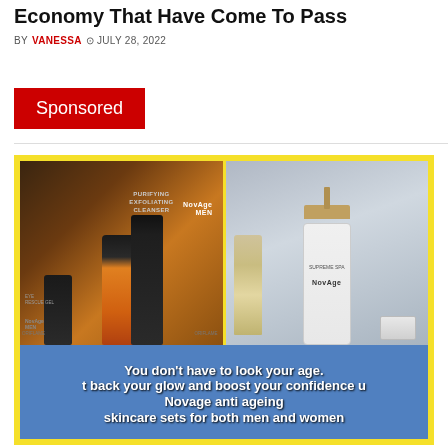Economy That Have Come To Pass
BY VANESSA  © JULY 28, 2022
Sponsored
[Figure (photo): Two-panel product photo with yellow border showing NovAge Men skincare products on the left (dark bottles on dark background) and NovAge skincare (white pump bottle and serum) on the right against a blue-grey background. Below the photos is a blue banner with white bold text reading: You don't have to look your age. t back your glow and boost your confidence u Novage anti ageing skincare sets for both men and women]